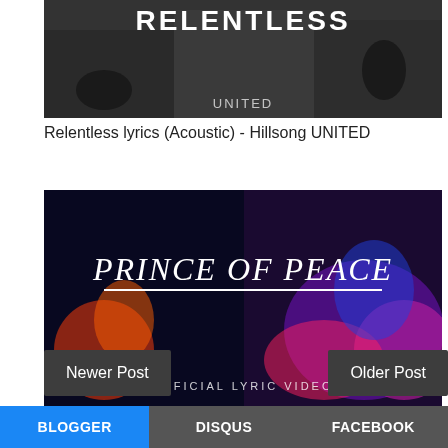[Figure (photo): Thumbnail image for Relentless lyrics (Acoustic) by Hillsong UNITED - dark band photo with RELENTLESS text and UNITED watermark]
Relentless lyrics (Acoustic) - Hillsong UNITED
[Figure (photo): Thumbnail image for Prince of Peace lyrics - Hillsong United official lyric video, dark background with colorful abstract art and white handwritten PRINCE OF PEACE text]
Prince of Peace lyrics - Hillsong United
Newer Post
Older Post
BLOGGER
DISQUS
FACEBOOK